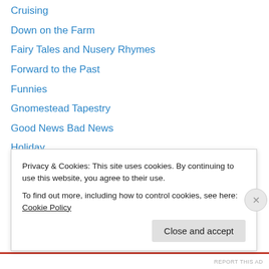Cruising
Down on the Farm
Fairy Tales and Nusery Rhymes
Forward to the Past
Funnies
Gnomestead Tapestry
Good News Bad News
Holiday
Introducing Locales
Joke
Jokes
Knights
Knock Knock Jokes
Notes
Privacy & Cookies: This site uses cookies. By continuing to use this website, you agree to their use.
To find out more, including how to control cookies, see here: Cookie Policy